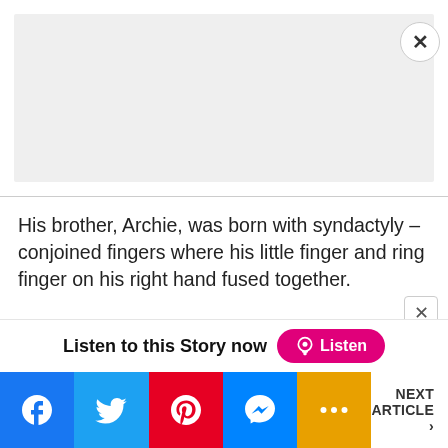[Figure (screenshot): Grey advertisement banner area with close (X) button in top-right corner]
His brother, Archie, was born with syndactyly – conjoined fingers where his little finger and ring finger on his right hand fused together.

The eight-year-old has already had two operations – the first at Newcastle RVI to separate the fingers, before a second one two weeks ago to straighten his ring finger.
[Figure (infographic): Listen to this Story now button bar with podcast icon and pink Listen button]
[Figure (infographic): Social sharing bar with Facebook, Twitter, Pinterest, Messenger, More buttons and Next Article link]